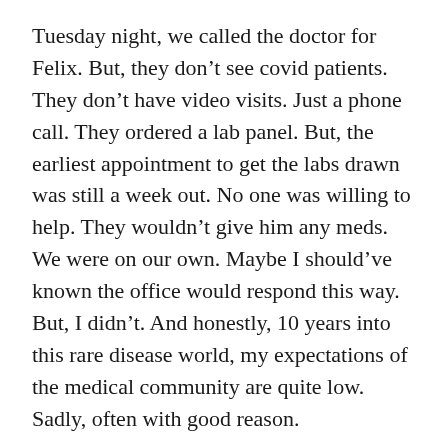Tuesday night, we called the doctor for Felix. But, they don't see covid patients. They don't have video visits. Just a phone call. They ordered a lab panel. But, the earliest appointment to get the labs drawn was still a week out. No one was willing to help. They wouldn't give him any meds. We were on our own. Maybe I should've known the office would respond this way. But, I didn't. And honestly, 10 years into this rare disease world, my expectations of the medical community are quite low. Sadly, often with good reason.
Tuesday, Wednesday, and probably Thursday I cried an awful lot. This is the kind of thing that everyone wants to “help” with, but you can’t bring a single person anywhere near you. As I yanked on my big girl pants and did my best to keep things together. I shortened my day and taught my class each morning, figuring I needed